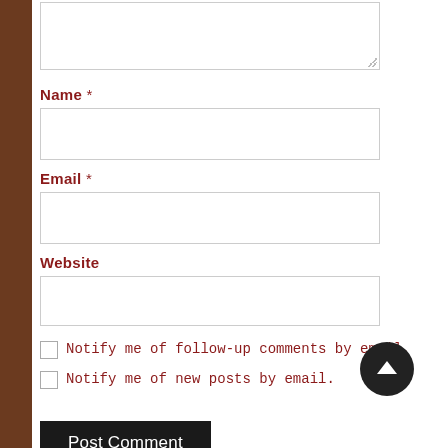[Figure (screenshot): Textarea input box (empty, resizable) at the top of a comment form]
Name *
[Figure (screenshot): Name text input field (empty)]
Email *
[Figure (screenshot): Email text input field (empty)]
Website
[Figure (screenshot): Website text input field (empty)]
Notify me of follow-up comments by email.
Notify me of new posts by email.
Post Comment
Protected with IP Blocklist Cloud